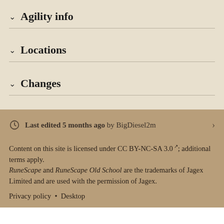∨ Agility info
∨ Locations
∨ Changes
Last edited 5 months ago by BigDiesel2m
Content on this site is licensed under CC BY-NC-SA 3.0; additional terms apply. RuneScape and RuneScape Old School are the trademarks of Jagex Limited and are used with the permission of Jagex.
Privacy policy • Desktop